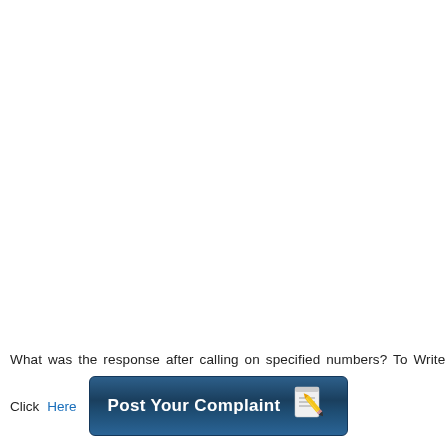What was the response after calling on specified numbers? To Write
Click  Here   Post Your Complaint